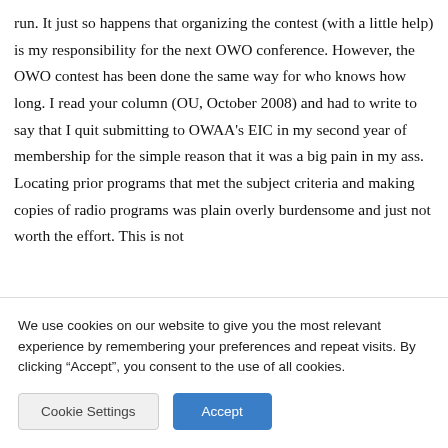run. It just so happens that organizing the contest (with a little help) is my responsibility for the next OWO conference. However, the OWO contest has been done the same way for who knows how long. I read your column (OU, October 2008) and had to write to say that I quit submitting to OWAA's EIC in my second year of membership for the simple reason that it was a big pain in my ass. Locating prior programs that met the subject criteria and making copies of radio programs was plain overly burdensome and just not worth the effort. This is not
We use cookies on our website to give you the most relevant experience by remembering your preferences and repeat visits. By clicking “Accept”, you consent to the use of all cookies.
Cookie Settings
Accept